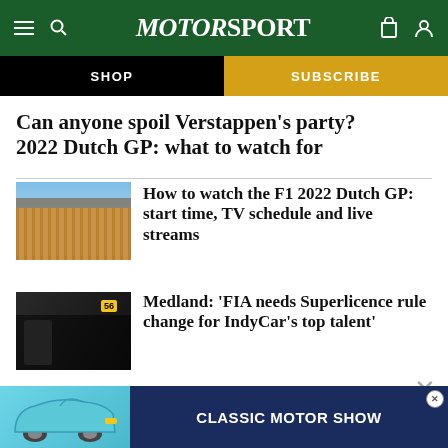MotorSport
SHOP | SUBSCRIBE
Can anyone spoil Verstappen's party? 2022 Dutch GP: what to watch for
[Figure (photo): Aerial view of F1 circuit with grandstands packed with spectators]
How to watch the F1 2022 Dutch GP: start time, TV schedule and live streams
[Figure (photo): Racing driver in black gear near pit lane, number 56 visible]
Medland: 'FIA needs Superlicence rule change for IndyCar's top talent'
[Figure (photo): Classic Motor Show advertisement featuring a blue Porsche 911]